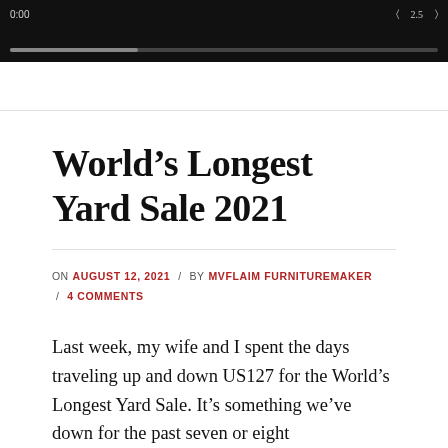[Figure (screenshot): Video player bar showing dark background with timestamp and progress bar]
World’s Longest Yard Sale 2021
ON AUGUST 12, 2021 / BY MVFLAIM FURNITUREMAKER / 4 COMMENTS
Last week, my wife and I spent the days traveling up and down US127 for the World’s Longest Yard Sale. It’s something we’ve down for the past seven or eight